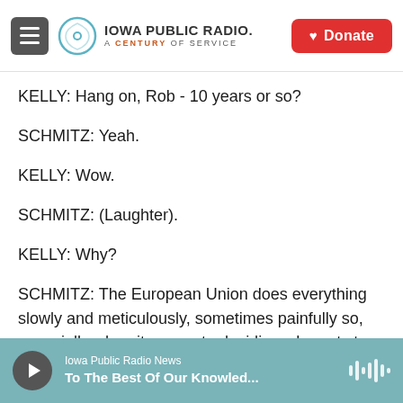Iowa Public Radio — A Century of Service | Donate
KELLY: Hang on, Rob - 10 years or so?
SCHMITZ: Yeah.
KELLY: Wow.
SCHMITZ: (Laughter).
KELLY: Why?
SCHMITZ: The European Union does everything slowly and meticulously, sometimes painfully so, especially when it comes to deciding who gets to join. The bloc wants to ensure that Ukraine's
Iowa Public Radio News — To The Best Of Our Knowled...